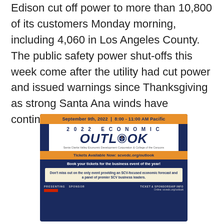Edison cut off power to more than 10,800 of its customers Monday morning, including 4,060 in Los Angeles County. The public safety power shut-offs this week come after the utility had cut power and issued warnings since Thanksgiving as strong Santa Ana winds have continued.
[Figure (infographic): Advertisement for 2022 Economic Outlook event on September 9th, 2022, 8:00-11:00 AM Pacific, hosted by Santa Clarita Valley Economic Development Corporation & College of the Canyons. Tickets available at scvedc.org/outlook. Book your tickets for the business event of the year! Don't miss out on the only event providing an SCV-focused economic forecast and a panel of premier SCV business leaders.]